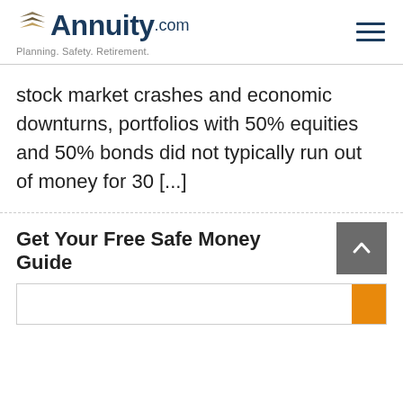Annuity.com — Planning. Safety. Retirement.
stock market crashes and economic downturns, portfolios with 50% equities and 50% bonds did not typically run out of money for 30 [...]
Get Your Free Safe Money Guide
[Figure (other): Partial view of a guide/book cover with an orange graphic element, partially visible at the bottom of the page]